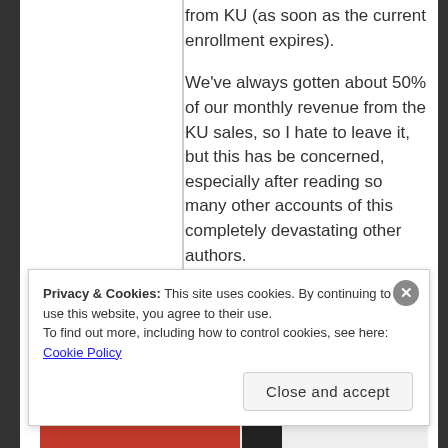from KU (as soon as the current enrollment expires).
We've always gotten about 50% of our monthly revenue from the KU sales, so I hate to leave it, but this has be concerned, especially after reading so many other accounts of this completely devastating other authors.
Privacy & Cookies: This site uses cookies. By continuing to use this website, you agree to their use.
To find out more, including how to control cookies, see here: Cookie Policy